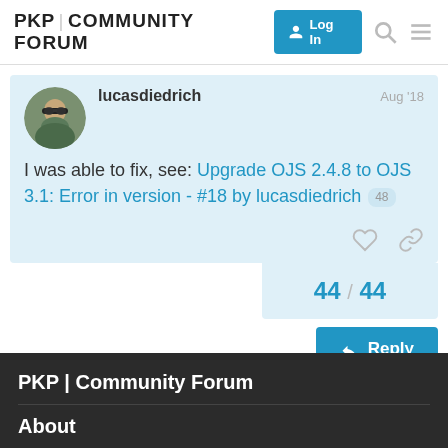PKP|COMMUNITY FORUM
lucasdiedrich  Aug '18
I was able to fix, see: Upgrade OJS 2.4.8 to OJS 3.1: Error in version - #18 by lucasdiedrich  48
44 / 44
Reply
PKP | Community Forum
About